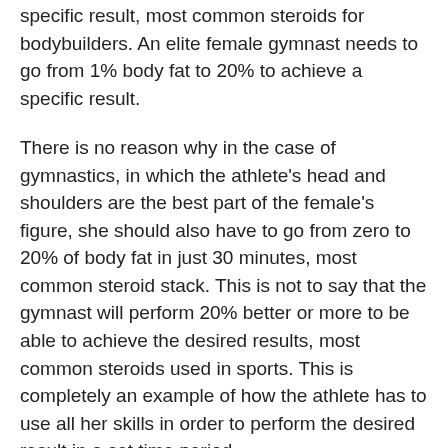specific result, most common steroids for bodybuilders. An elite female gymnast needs to go from 1% body fat to 20% to achieve a specific result.
There is no reason why in the case of gymnastics, in which the athlete's head and shoulders are the best part of the female's figure, she should also have to go from zero to 20% of body fat in just 30 minutes, most common steroid stack. This is not to say that the gymnast will perform 20% better or more to be able to achieve the desired results, most common steroids used in sports. This is completely an example of how the athlete has to use all her skills in order to perform the desired result in a set time period.
So, if an elite gymnast is using two or three drugs, and the same level male gymnast is using a single pill, that athlete may have an